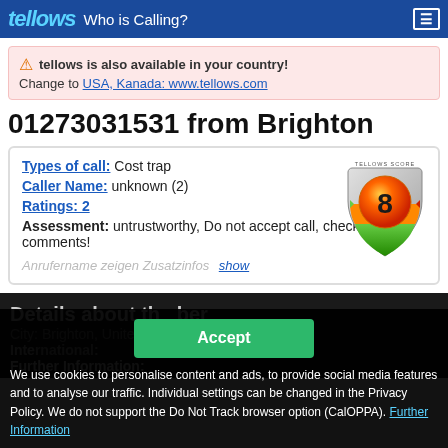tellows Who is Calling?
⚠ tellows is also available in your country! Change to USA, Kanada: www.tellows.com
01273031531 from Brighton
Types of call: Cost trap
Caller Name: unknown (2)
Ratings: 2
Assessment: untrustworthy, Do not accept call, check comments!
Anrufername zeigen Zusatzinfos   show
[Figure (other): Tellows score badge showing score of 8 (red/orange shield with number 8)]
Details about the number
City: Brighton, United Kingdom
International:
We use cookies to personalise content and ads, to provide social media features and to analyse our traffic. Individual settings can be changed in the Privacy Policy. We do not support the Do Not Track browser option (CalOPPA). Further Information
Further Information: